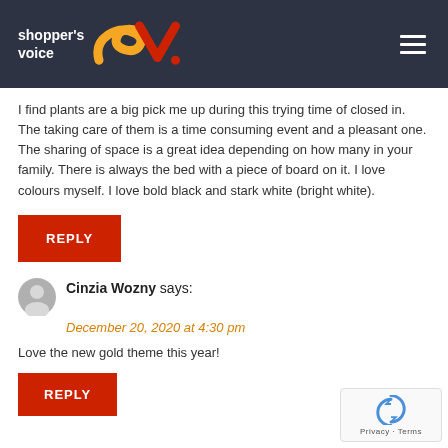shopper's voice
I find plants are a big pick me up during this trying time of closed in. The taking care of them is a time consuming event and a pleasant one.
The sharing of space is a great idea depending on how many in your family. There is always the bed with a piece of board on it. I love colours myself. I love bold black and stark white (bright white).
REPLY
Cinzia Wozny says:
December 20, 2020 at 4:30 pm
Love the new gold theme this year!
REPLY